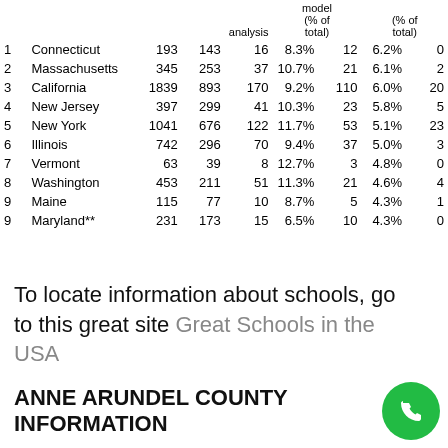|  | State |  |  | analysis | model
(% of total) |  | (% of
total) |
| --- | --- | --- | --- | --- | --- | --- | --- |
| 1 | Connecticut | 193 | 143 | 16 | 8.3% | 12 | 6.2% | 0 |
| 2 | Massachusetts | 345 | 253 | 37 | 10.7% | 21 | 6.1% | 2 |
| 3 | California | 1839 | 893 | 170 | 9.2% | 110 | 6.0% | 20 |
| 4 | New Jersey | 397 | 299 | 41 | 10.3% | 23 | 5.8% | 5 |
| 5 | New York | 1041 | 676 | 122 | 11.7% | 53 | 5.1% | 23 |
| 6 | Illinois | 742 | 296 | 70 | 9.4% | 37 | 5.0% | 3 |
| 7 | Vermont | 63 | 39 | 8 | 12.7% | 3 | 4.8% | 0 |
| 8 | Washington | 453 | 211 | 51 | 11.3% | 21 | 4.6% | 4 |
| 9 | Maine | 115 | 77 | 10 | 8.7% | 5 | 4.3% | 1 |
| 9 | Maryland** | 231 | 173 | 15 | 6.5% | 10 | 4.3% | 0 |
To locate information about schools, go to this great site Great Schools in the USA
ANNE ARUNDEL COUNTY INFORMATION